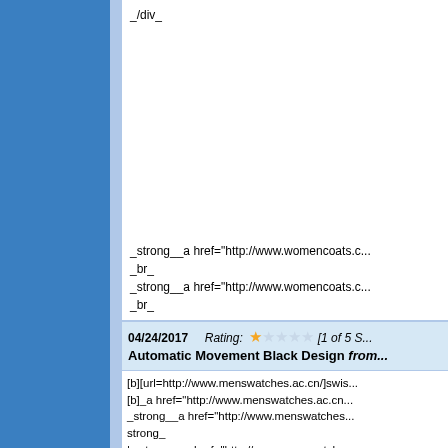_/div_
_strong__a href="http://www.womencoats.c...
_br_
_strong__a href="http://www.womencoats.c...
_br_
04/24/2017    Rating: [1 of 5 S...]
Automatic Movement Black Design from...
[b][url=http://www.menswatches.ac.cn/]swis...
[b]_a href="http://www.menswatches.ac.cn...
_strong__a href="http://www.menswatches...
strong_
| _strong__a href="http://www.menswatche...
strong_
| _strong__a href="http://www.menswatche...
watches_/a__/strong_
_br_
_title_Copy Watches Rolex Daytona Watch...
Gold Case Post4046... - $214.00 : Professi...
  meta http-equiv="Content-Type" content=...